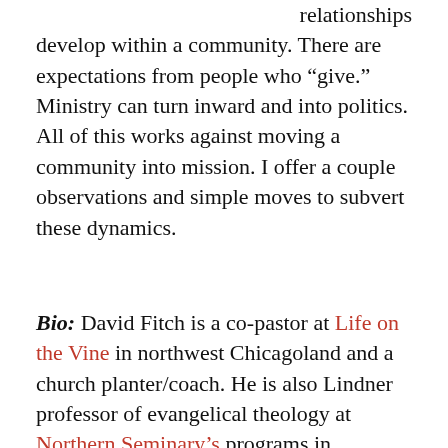relationships develop within a community. There are expectations from people who “give.” Ministry can turn inward and into politics. All of this works against moving a community into mission. I offer a couple observations and simple moves to subvert these dynamics.
Bio: David Fitch is a co-pastor at Life on the Vine in northwest Chicagoland and a church planter/coach. He is also Lindner professor of evangelical theology at Northern Seminary’s programs in missional church studies teaching on matters having to do with gospel and culture. He is an author with his next book – The End of Evangelicalism? Discerning a